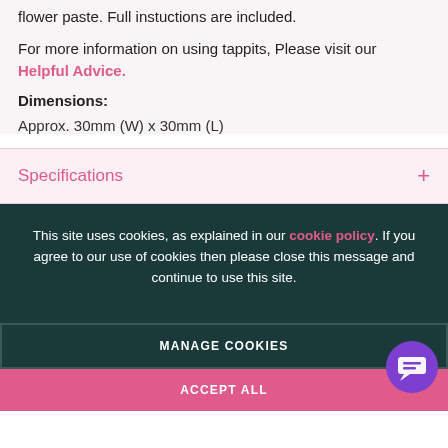flower paste. Full instuctions are included.
For more information on using tappits, Please visit our Helpful Advice.
Dimensions:
Approx. 30mm (W) x 30mm (L)
Specifications
This site uses cookies, as explained in our cookie policy. If you agree to our use of cookies then please close this message and continue to use this site.
MANAGE COOKIES
ACCEPT ALL